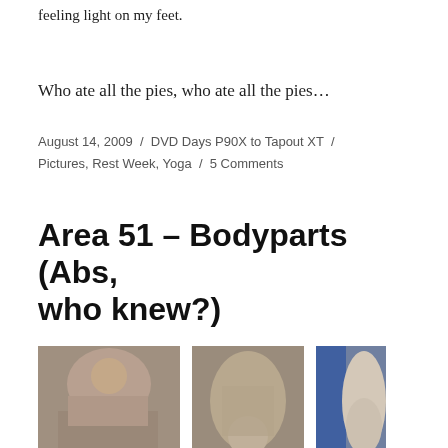feeling light on my feet.
Who ate all the pies, who ate all the pies…
August 14, 2009 / DVD Days P90X to Tapout XT / Pictures, Rest Week, Yoga / 5 Comments
Area 51 – Bodyparts (Abs, who knew?)
[Figure (photo): Three cropped body photos showing torso/abs and arm muscle areas]